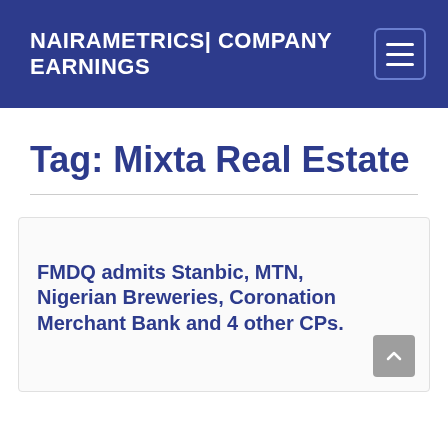NAIRAMETRICS| COMPANY EARNINGS
Tag: Mixta Real Estate
FMDQ admits Stanbic, MTN, Nigerian Breweries, Coronation Merchant Bank and 4 other CPs.